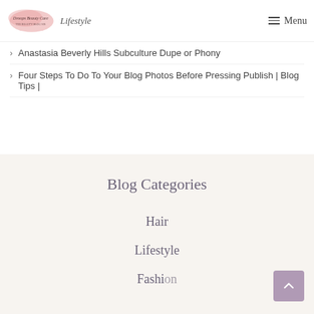Lifestyle | Menu
Anastasia Beverly Hills Subculture Dupe or Phony
Four Steps To Do To Your Blog Photos Before Pressing Publish | Blog Tips |
Blog Categories
Hair
Lifestyle
Fashion